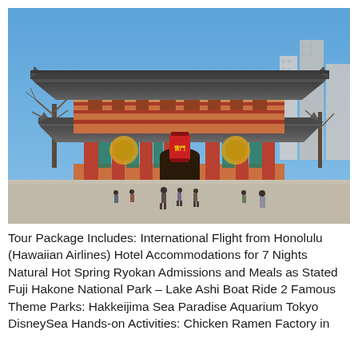[Figure (photo): Photograph of Senso-ji temple gate (Kaminarimon) in Asakusa, Tokyo, Japan. The large traditional Japanese gate with red columns, ornate roof tiers, and a large red lantern in the center. Blue sky in the background, people walking in the foreground plaza.]
Tour Package Includes: International Flight from Honolulu (Hawaiian Airlines) Hotel Accommodations for 7 Nights Natural Hot Spring Ryokan Admissions and Meals as Stated Fuji Hakone National Park – Lake Ashi Boat Ride 2 Famous Theme Parks: Hakkeijima Sea Paradise Aquarium Tokyo DisneySea Hands-on Activities: Chicken Ramen Factory in